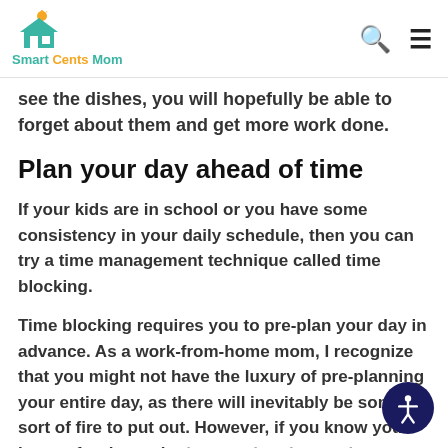Smart Cents Mom
see the dishes, you will hopefully be able to forget about them and get more work done.
Plan your day ahead of time
If your kids are in school or you have some consistency in your daily schedule, then you can try a time management technique called time blocking.
Time blocking requires you to pre-plan your day in advance. As a work-from-home mom, I recognize that you might not have the luxury of pre-planning your entire day, as there will inevitably be some sort of fire to put out. However, if you know you have a few hours in the morning then make an effort to plan exactly what you are going to do in advance.